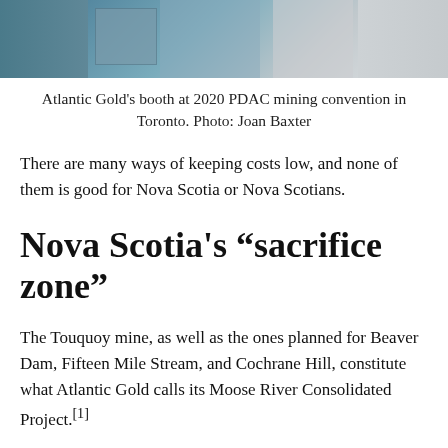[Figure (photo): Atlantic Gold's booth at 2020 PDAC mining convention in Toronto. Partial view showing booth setup with signs and draped tables.]
Atlantic Gold's booth at 2020 PDAC mining convention in Toronto. Photo: Joan Baxter
There are many ways of keeping costs low, and none of them is good for Nova Scotia or Nova Scotians.
Nova Scotia's “sacrifice zone”
The Touquoy mine, as well as the ones planned for Beaver Dam, Fifteen Mile Stream, and Cochrane Hill, constitute what Atlantic Gold calls its Moose River Consolidated Project.[1]
If all three new mines, which Atlantic Gold has called its “string of pearls” in “backyard Canada,” were to be approved, public roads in eastern Nova Scotia would become very busy with truck traffic carrying ore from